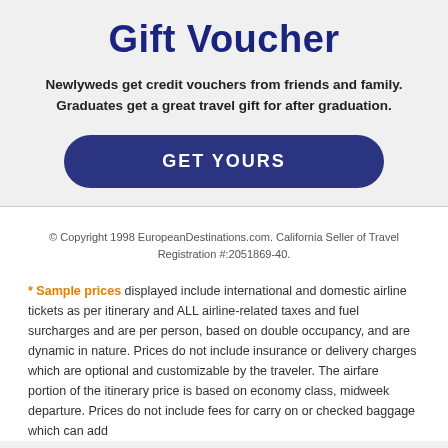Gift Voucher
Newlyweds get credit vouchers from friends and family. Graduates get a great travel gift for after graduation.
[Figure (other): GET YOURS button - dark navy blue rounded rectangle button with white text]
© Copyright 1998 EuropeanDestinations.com. California Seller of Travel Registration #:2051869-40.
* Sample prices displayed include international and domestic airline tickets as per itinerary and ALL airline-related taxes and fuel surcharges and are per person, based on double occupancy, and are dynamic in nature. Prices do not include insurance or delivery charges which are optional and customizable by the traveler. The airfare portion of the itinerary price is based on economy class, midweek departure. Prices do not include fees for carry on or checked baggage which can add